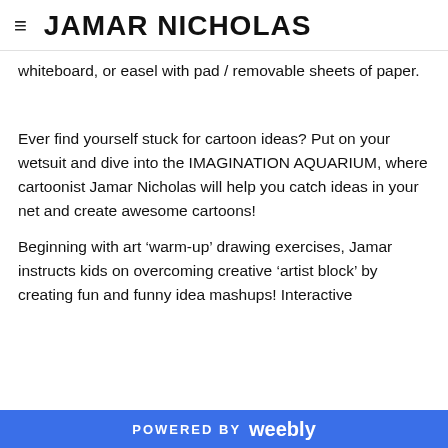JAMAR NICHOLAS
whiteboard, or easel with pad / removable sheets of paper.
Ever find yourself stuck for cartoon ideas? Put on your wetsuit and dive into the IMAGINATION AQUARIUM, where cartoonist Jamar Nicholas will help you catch ideas in your net and create awesome cartoons!
Beginning with art ‘warm-up’ drawing exercises, Jamar instructs kids on overcoming creative ‘artist block’ by creating fun and funny idea mashups! Interactive
POWERED BY weebly